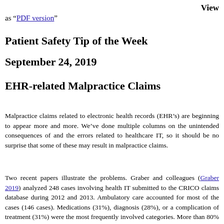View
as “PDF version”
Patient Safety Tip of the Week
September 24, 2019
EHR-related Malpractice Claims
Malpractice claims related to electronic health records (EHR’s) are beginning to appear more and more. We’ve done multiple columns on the unintended consequences of and the errors related to healthcare IT, so it should be no surprise that some of these may result in malpractice claims.
Two recent papers illustrate the problems. Graber and colleagues (Graber 2019) analyzed 248 cases involving health IT submitted to the CRICO claims database during 2012 and 2013. Ambulatory care accounted for most of the cases (146 cases). Medications (31%), diagnosis (28%), or a complication of treatment (31%) were the most frequently involved categories. More than 80% of